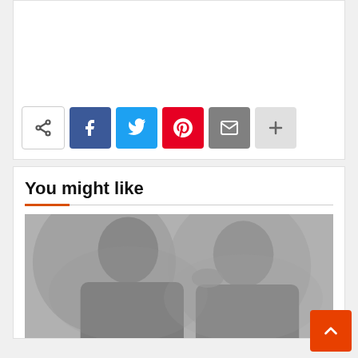[Figure (screenshot): Social sharing button bar with share icon, Facebook (blue), Twitter (cyan), Pinterest (red), email (gray), and more (+) buttons]
You might like
[Figure (photo): Black and white photograph showing two men, partially blurred, appearing to be in casual or semi-formal attire]